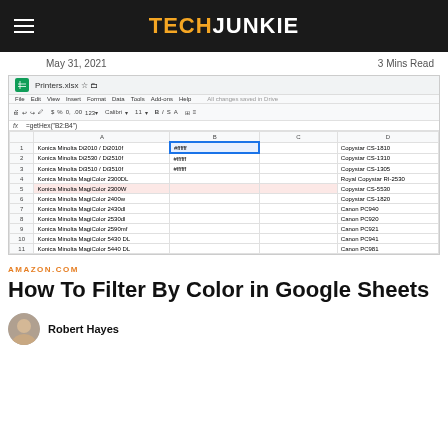TECHJUNKIE
May 31, 2021   3 Mins Read
[Figure (screenshot): Google Sheets spreadsheet showing Printers.xlsx with printer model names in column A, hex color values in column B, and Copystar/Canon printer models in column D. Row 5 is highlighted in pink. Formula bar shows =getHex("B2:B4").]
AMAZON.COM
How To Filter By Color in Google Sheets
Robert Hayes